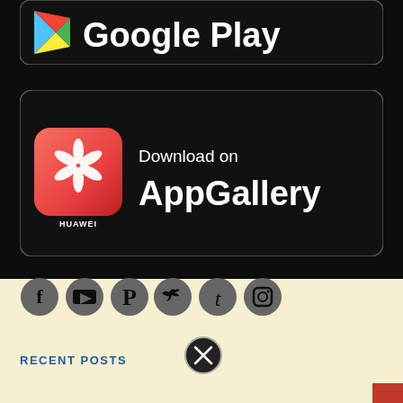[Figure (screenshot): Partial Google Play Store download badge with play icon and 'Google Play' white text on dark background]
[Figure (screenshot): Huawei AppGallery download badge: Huawei logo icon on red background, 'Download on AppGallery' white text on dark background with rounded border]
[Figure (infographic): Row of social media icons in grey: Facebook, YouTube, Pinterest, Twitter, Tumblr, Instagram]
RECENT POSTS